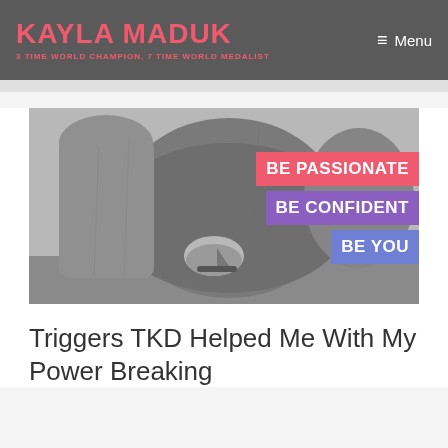KAYLA MADUK — 3 TIME WORLD CHAMPION, 7 TIME WORLD MEDALIST — Menu
[Figure (photo): Black and white photograph of rocky sea cliffs with a small sailing boat in the water. Overlaid with three colored text banners: 'BE PASSIONATE' in red/pink, 'BE CONFIDENT' in purple, 'BE YOU' in blue-purple.]
Triggers TKD Helped Me With My Power Breaking